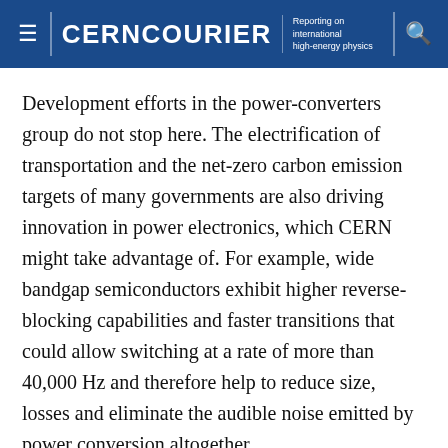CERNCOURIER — Reporting on international high-energy physics
Development efforts in the power-converters group do not stop here. The electrification of transportation and the net-zero carbon emission targets of many governments are also driving innovation in power electronics, which CERN might take advantage of. For example, wide bandgap semiconductors exhibit higher reverse-blocking capabilities and faster transitions that could allow switching at a rate of more than 40,000 Hz and therefore help to reduce size, losses and eliminate the audible noise emitted by power conversion altogether.
Another massive opportunity concerns energy storage, with CERN looking closely at the technologies driven by